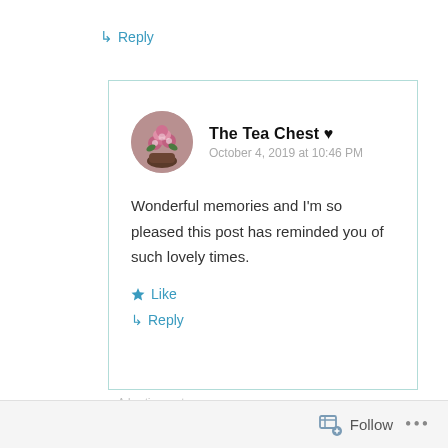↳ Reply
The Tea Chest ♥
October 4, 2019 at 10:46 PM
Wonderful memories and I'm so pleased this post has reminded you of such lovely times.
★ Like
↳ Reply
Advertisements
Follow